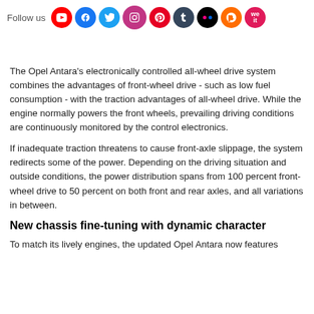Follow us [social media icons: YouTube, Facebook, Twitter, Instagram, Pinterest, Tumblr, Flickr, Mix, WeIt]
The Opel Antara's electronically controlled all-wheel drive system combines the advantages of front-wheel drive - such as low fuel consumption - with the traction advantages of all-wheel drive. While the engine normally powers the front wheels, prevailing driving conditions are continuously monitored by the control electronics.
If inadequate traction threatens to cause front-axle slippage, the system redirects some of the power. Depending on the driving situation and outside conditions, the power distribution spans from 100 percent front-wheel drive to 50 percent on both front and rear axles, and all variations in between.
New chassis fine-tuning with dynamic character
To match its lively engines, the updated Opel Antara now features